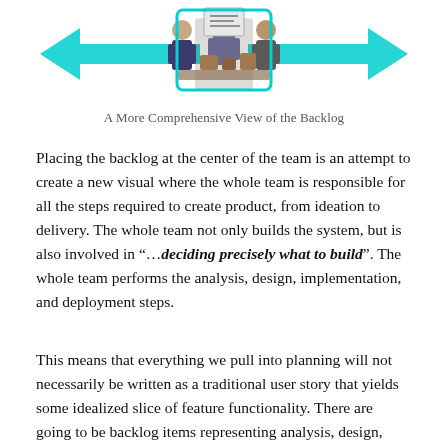[Figure (illustration): Illustration of a team of people around a backlog or desk setup, with cyan/teal arrows pointing left and right, representing a comprehensive view of the backlog.]
A More Comprehensive View of the Backlog
Placing the backlog at the center of the team is an attempt to create a new visual where the whole team is responsible for all the steps required to create product, from ideation to delivery. The whole team not only builds the system, but is also involved in “…deciding precisely what to build”. The whole team performs the analysis, design, implementation, and deployment steps.
This means that everything we pull into planning will not necessarily be written as a traditional user story that yields some idealized slice of feature functionality. There are going to be backlog items representing analysis, design, packaging, and other